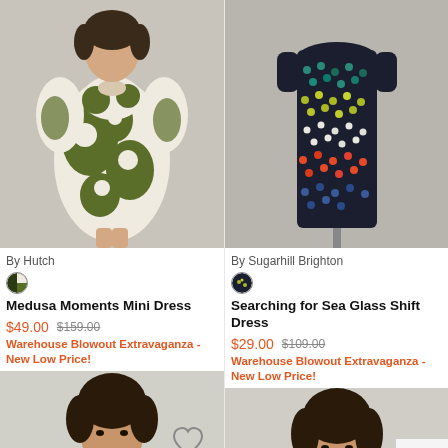[Figure (photo): Model wearing olive green and beige floral mini dress with puff sleeves, cropped at mid-thigh]
By Hutch
[Figure (illustration): Color swatch circle showing olive/dark green and beige]
Medusa Moments Mini Dress
$49.00  $159.00
Warehouse Blowout Extravaganza - New Low Price!
[Figure (photo): Colorful polka dot shift dress in dark navy with multicolor dots (teal, yellow, red, white) on a dress form]
By Sugarhill Brighton
[Figure (illustration): Color swatch circle showing dark navy with yellow/green dots]
Searching for Sea Glass Shift Dress
$29.00  $109.00
Warehouse Blowout Extravaganza - New Low Price!
[Figure (photo): Woman with short dark curly hair smiling, bottom portion of product page]
[Figure (photo): Woman with short dark curly hair smiling, bottom portion of second product page]